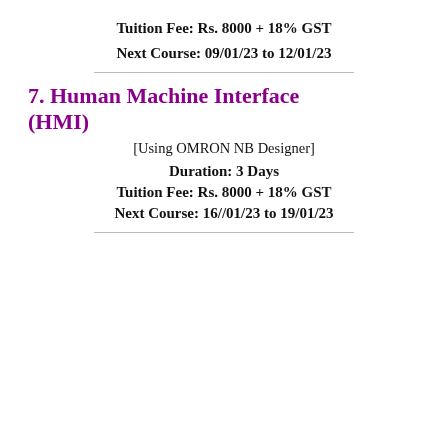Tuition Fee: Rs. 8000 + 18% GST
Next Course: 09/01/23 to 12/01/23
7. Human Machine Interface (HMI)
[Using OMRON NB Designer]
Duration: 3 Days
Tuition Fee: Rs. 8000 + 18% GST
Next Course: 16//01/23 to 19/01/23